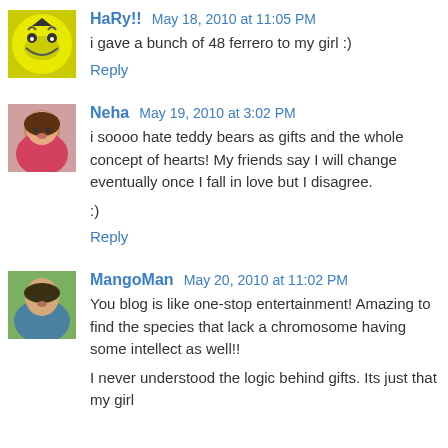HaRy!! May 18, 2010 at 11:05 PM
i gave a bunch of 48 ferrero to my girl :)
Reply
Neha May 19, 2010 at 3:02 PM
i soooo hate teddy bears as gifts and the whole concept of hearts! My friends say I will change eventually once I fall in love but I disagree.
:)
Reply
MangoMan May 20, 2010 at 11:02 PM
You blog is like one-stop entertainment! Amazing to find the species that lack a chromosome having some intellect as well!!
I never understood the logic behind gifts. Its just that my girl...